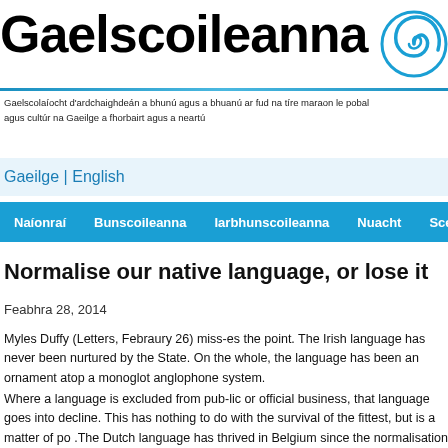[Figure (logo): Gaelscoileanna logo with large bold text and blue spiral graphic on the right]
Gaelscolaíocht d'ardchaighdeán a bhunú agus a bhuanú ar fud na tíre maraon le pobal agus cultúr na Gaeilge a fhorbairt agus a neartú
Gaeilge | English
Naíonraí | Bunscoileanna | Iarbhunscoileanna | Nuacht | Sce
Normalise our native language, or lose it
Feabhra 28, 2014
Myles Duffy (Letters, Febraury 26) miss-es the point. The Irish language has never been nurtured by the State. On the whole, the language has been an ornament atop a monoglot anglophone system.
Where a language is excluded from pub-lic or official business, that language goes into decline. This has nothing to do with the survival of the fittest, but is a matter of po .The Dutch language has thrived in Belgium since the normalisation of its use in p life there was achieved. The same Dutch language is dying out just across the b